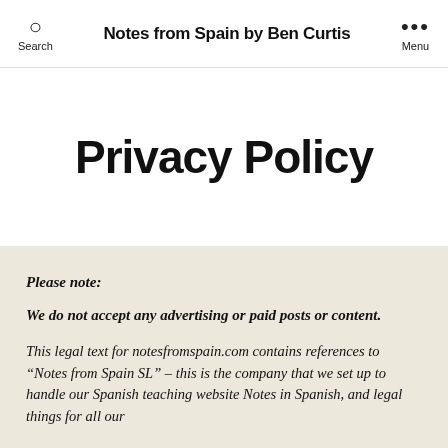Search | Notes from Spain by Ben Curtis | Menu
Privacy Policy
Please note:
We do not accept any advertising or paid posts or content.
This legal text for notesfromspain.com contains references to “Notes from Spain SL” – this is the company that we set up to handle our Spanish teaching website Notes in Spanish, and legal things for all our